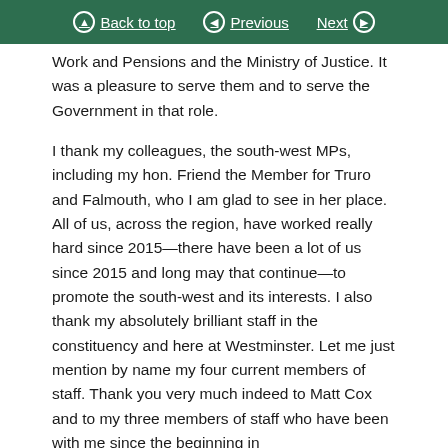Back to top | Previous | Next
Work and Pensions and the Ministry of Justice. It was a pleasure to serve them and to serve the Government in that role.
I thank my colleagues, the south-west MPs, including my hon. Friend the Member for Truro and Falmouth, who I am glad to see in her place. All of us, across the region, have worked really hard since 2015—there have been a lot of us since 2015 and long may that continue—to promote the south-west and its interests. I also thank my absolutely brilliant staff in the constituency and here at Westminster. Let me just mention by name my four current members of staff. Thank you very much indeed to Matt Cox and to my three members of staff who have been with me since the beginning in